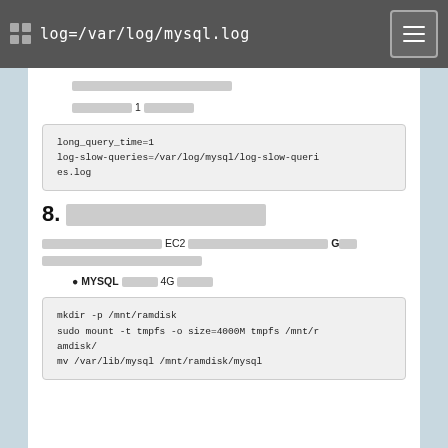log=/var/log/mysql.log
[Thai text - log description]
[Thai text] 1 [Thai text]
long_query_time=1
log-slow-queries=/var/log/mysql/log-slow-queries.log
8. [Thai text]
[Thai text] EC2 [Thai text] G [Thai text]
● MYSQL [Thai text] 4G [Thai text]
mkdir -p /mnt/ramdisk
sudo mount -t tmpfs -o size=4000M tmpfs /mnt/ramdisk/
mv /var/lib/mysql /mnt/ramdisk/mysql